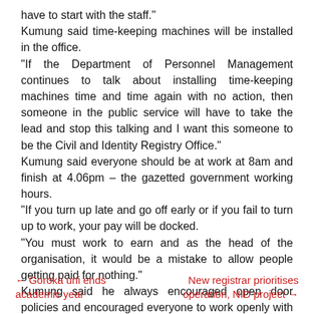have to start with the staff." Kumung said time-keeping machines will be installed in the office. "If the Department of Personnel Management continues to talk about installing time-keeping machines time and time again with no action, then someone in the public service will have to take the lead and stop this talking and I want this someone to be the Civil and Identity Registry Office." Kumung said everyone should be at work at 8am and finish at 4.06pm – the gazetted government working hours. "If you turn up late and go off early or if you fail to turn up to work, your pay will be docked. "You must work to earn and as the head of the organisation, it would be a mistake to allow people getting paid for nothing." Kumung said he always encouraged open door policies and encouraged everyone to work openly with each other.
← Goroka uni ends academic year | New registrar prioritises operation, NID project →